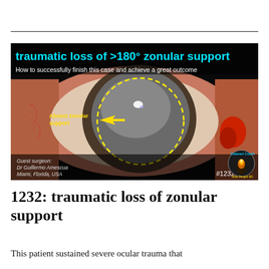[Figure (screenshot): Surgical video thumbnail showing cataract surgery with traumatic zonular loss. Text overlay reads 'traumatic loss of >180° zonular support' in cyan, subtitle 'How to successfully finish this case and achieve a great outcome' in white. Image shows a closeup of an eye with a dislocated lens, yellow dashed circle indicating absent zonular support with arrow annotation. Bottom left text: 'Guest surgeon: Dr Guillermo Amescua Miami, Florida, USA'. Bottom right: Cataract Coach logo and #1232.]
1232: traumatic loss of zonular support
This patient sustained severe ocular trauma that